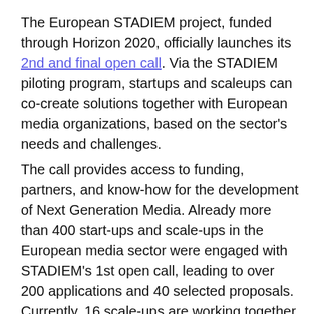The European STADIEM project, funded through Horizon 2020, officially launches its 2nd and final open call. Via the STADIEM piloting program, startups and scaleups can co-create solutions together with European media organizations, based on the sector's needs and challenges. The call provides access to funding, partners, and know-how for the development of Next Generation Media. Already more than 400 start-ups and scale-ups in the European media sector were engaged with STADIEM's 1st open call, leading to over 200 applications and 40 selected proposals. Currently, 16 scale-ups are working together with European media organizations (including VRT, Roularta Media Group, Frankfurter Allgemeine Zeitung, Marathon Music Group, and several others) to tackle today's largest media challenges, from diversity, over AI, VR, and AR, to accessibility. In the current batch of companies in the STADIEM program are the Media